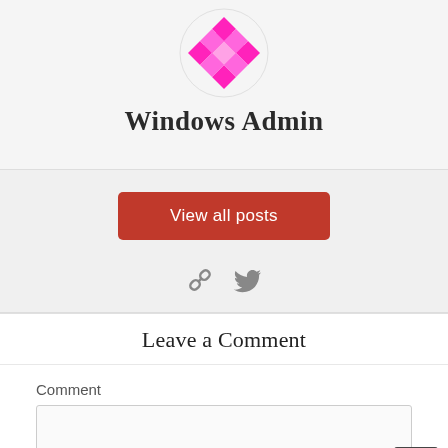[Figure (logo): Pink/magenta geometric diamond/cross logo inside a circle]
Windows Admin
View all posts
[Figure (other): Social icons: chain link and Twitter bird, gray colored]
Leave a Comment
Comment
[Figure (other): Comment text area input box (empty)]